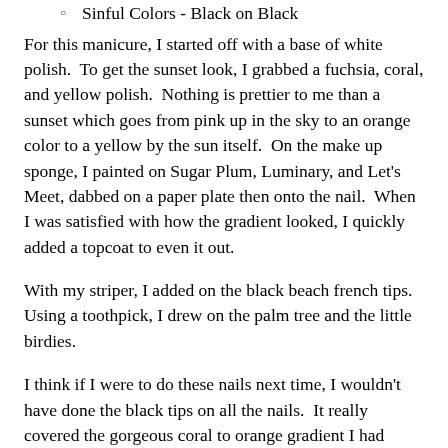Sinful Colors - Black on Black
For this manicure, I started off with a base of white polish.  To get the sunset look, I grabbed a fuchsia, coral, and yellow polish.  Nothing is prettier to me than a sunset which goes from pink up in the sky to an orange color to a yellow by the sun itself.  On the make up sponge, I painted on Sugar Plum, Luminary, and Let's Meet, dabbed on a paper plate then onto the nail.  When I was satisfied with how the gradient looked, I quickly added a topcoat to even it out.
With my striper, I added on the black beach french tips.  Using a toothpick, I drew on the palm tree and the little birdies.
I think if I were to do these nails next time, I wouldn't have done the black tips on all the nails.  It really covered the gorgeous coral to orange gradient I had going.  You can see it on the pointer and thumb though. Overall, I loved this manicure.  It was one of those that I could not stop looking at.  Really made me want to go to the beach!
One thing I need to work on with my gradients is full